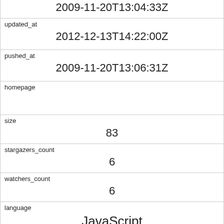| updated_at | 2009-11-20T13:04:33Z |
| updated_at | 2012-12-13T14:22:00Z |
| pushed_at | 2009-11-20T13:06:31Z |
| homepage |  |
| size | 83 |
| stargazers_count | 6 |
| watchers_count | 6 |
| language | JavaScript |
| has_issues | 0 |
| has_projects | 1 |
| has_downloads | 1 |